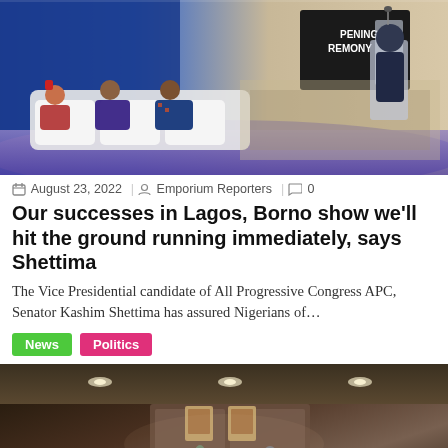[Figure (photo): Conference or ceremony photo showing panelists seated on stage and a speaker at a podium, large audience visible, purple-lit stage, 'Opening Ceremony' signage in background]
August 23, 2022   Emporium Reporters   0
Our successes in Lagos, Borno show we’ll hit the ground running immediately, says Shettima
The Vice Presidential candidate of All Progressive Congress APC, Senator Kashim Shettima has assured Nigerians of…
News   Politics
[Figure (photo): Group photo of people indoors in a formal meeting room, portraits on wall in background, warm lighting]